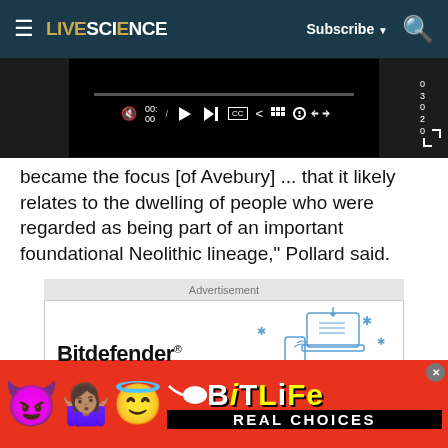LIVESCIENCE — Subscribe
[Figure (screenshot): Video player controls showing play button, skip button, progress bar, time display 00:00, captions and settings icons]
became the focus [of Avebury] ... that it likely relates to the dwelling of people who were regarded as being part of an important foundational Neolithic lineage," Pollard said.
[Figure (other): Advertisement box: Bitdefender Back To School ad with doodle illustrations of laptop and phone]
[Figure (other): BitLife app advertisement with emoji characters (devil, person, angel) and text REAL CHOICES on red background]